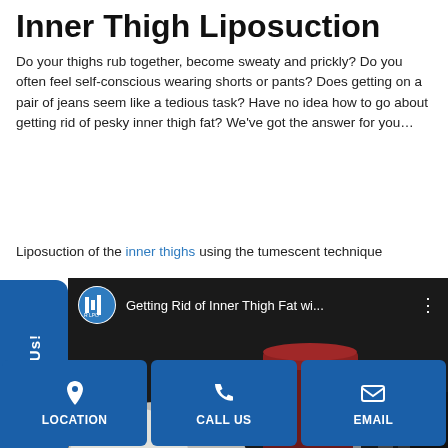Inner Thigh Liposuction
Do your thighs rub together, become sweaty and prickly? Do you often feel self-conscious wearing shorts or pants? Does getting on a pair of jeans seem like a tedious task? Have no idea how to go about getting rid of pesky inner thigh fat? We've got the answer for you…
Liposuction of the inner thighs using the tumescent technique
[Figure (screenshot): Video thumbnail showing 'Getting Rid of Inner Thigh Fat wi...' with a dark background medical/surgical video still]
[Figure (infographic): Contact Us vertical sidebar button in blue]
LOCATION
CALL US
EMAIL